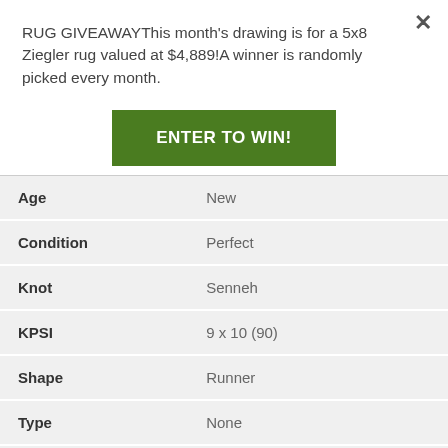RUG GIVEAWAYThis month's drawing is for a 5x8 Ziegler rug valued at $4,889!A winner is randomly picked every month.
ENTER TO WIN!
| Age | New |
| Condition | Perfect |
| Knot | Senneh |
| KPSI | 9 x 10 (90) |
| Shape | Runner |
| Type | None |
| Base Color | Brown |